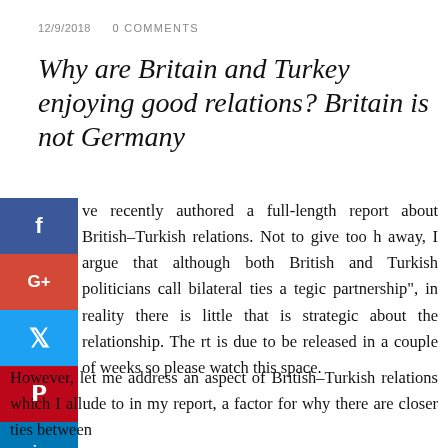12/9/2018   0 COMMENTS
Why are Britain and Turkey enjoying good relations? Britain is not Germany
ve recently authored a full-length report about British–Turkish relations. Not to give too h away, I argue that although both British and Turkish politicians call bilateral ties a tegic partnership", in reality there is little that is strategic about the relationship. The rt is due to be released in a couple of weeks so please watch this space.
However, let me address an aspect of British–Turkish relations which I allude to in my report, a factor for why there are closer ties between